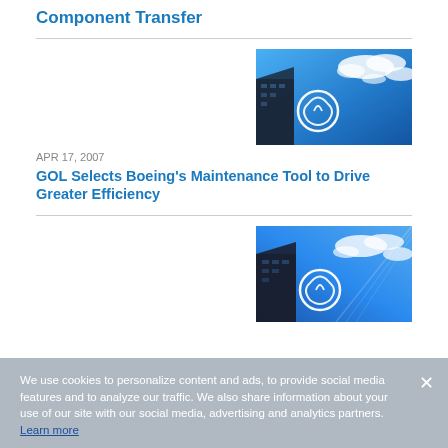Component Transfer
[Figure (photo): Boeing building with logo against blue sky with clouds]
APR 17, 2007
GOL Selects Boeing's Maintenance Tool to Drive Greater Efficiency
[Figure (photo): Boeing building with logo against blue sky with clouds (second article)]
We use cookies to personalize content and ads, to provide social media features and to analyze our traffic. We also share information about your use of our site with our social media, advertising and analytics partners. Learn more